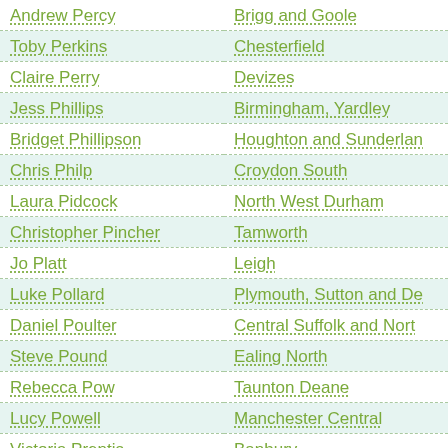| Name | Constituency |
| --- | --- |
| Andrew Percy | Brigg and Goole |
| Toby Perkins | Chesterfield |
| Claire Perry | Devizes |
| Jess Phillips | Birmingham, Yardley |
| Bridget Phillipson | Houghton and Sunderland South |
| Chris Philp | Croydon South |
| Laura Pidcock | North West Durham |
| Christopher Pincher | Tamworth |
| Jo Platt | Leigh |
| Luke Pollard | Plymouth, Sutton and Devonport |
| Daniel Poulter | Central Suffolk and North Ipswich |
| Steve Pound | Ealing North |
| Rebecca Pow | Taunton Deane |
| Lucy Powell | Manchester Central |
| Victoria Prentis | Banbury |
| Mark Prisk | Hertford and Stortford |
| Mark Pritchard | The Wrekin |
| Tom Pursglove | Corby |